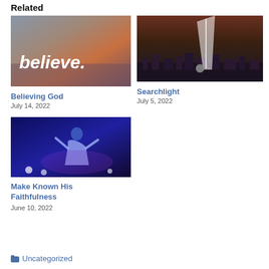Related
[Figure (photo): Sky with text 'believe.' in white letters over a sunset/dusk sky]
Believing God
July 14, 2022
[Figure (photo): Searchlight beam over a night cityscape]
Searchlight
July 5, 2022
[Figure (photo): Person at worship event in blue lighting]
Make Known His Faithfulness
June 10, 2022
Uncategorized